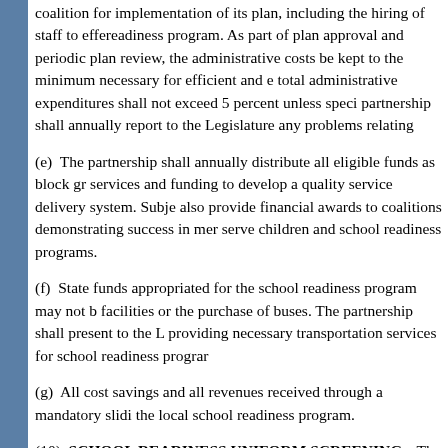coalition for implementation of its plan, including the hiring of staff to effe readiness program. As part of plan approval and periodic plan review, the administrative costs be kept to the minimum necessary for efficient and e total administrative expenditures shall not exceed 5 percent unless speci partnership shall annually report to the Legislature any problems relating
(e)  The partnership shall annually distribute all eligible funds as block gr services and funding to develop a quality service delivery system. Subje also provide financial awards to coalitions demonstrating success in mer serve children and school readiness programs.
(f)  State funds appropriated for the school readiness program may not b facilities or the purchase of buses. The partnership shall present to the L providing necessary transportation services for school readiness prograr
(g)  All cost savings and all revenues received through a mandatory slidi the local school readiness program.
(10)  SCHOOL READINESS UNIFORM SCREENING.--The Departmen readiness uniform screening, including a pilot program during the 2001-2 recommended by the Florida Partnership for School Readiness as part o Beginning with the 2002-2003 school year, the department shall require t school readiness uniform screening to each kindergarten student in the c entry into kindergarten. Children who enter public school for the first time screening adopted for use in first grade. The department shall incorporat